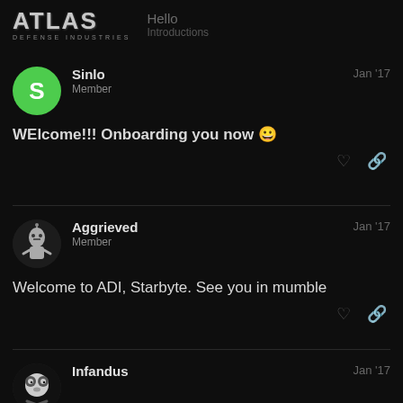ATLAS DEFENSE INDUSTRIES — Hello / Introductions
Sinlo — Member — Jan '17
WElcome!!! Onboarding you now 😀
Aggrieved — Member — Jan '17
Welcome to ADI, Starbyte. See you in mumble
Infandus — Jan '17
Hey there Starbyte - welcome to the ADI community!